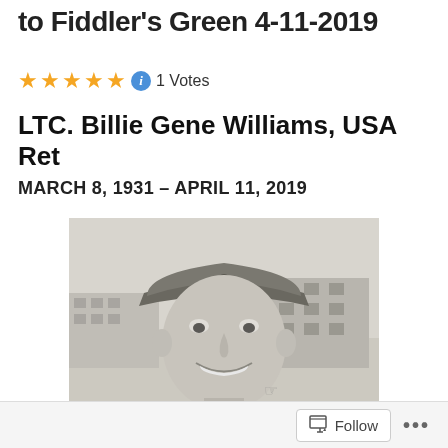to Fiddler's Green 4-11-2019
★★★★★  1 Votes
LTC. Billie Gene Williams, USA Ret
MARCH 8, 1931 – APRIL 11, 2019
[Figure (photo): Black and white photograph of a smiling young military man wearing a cap with wings and a major oak leaf insignia, with a building visible in the background.]
Follow  ...